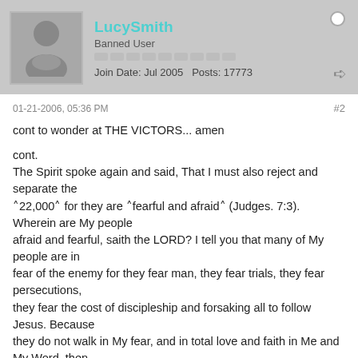LucySmith | Banned User | Join Date: Jul 2005 | Posts: 17773
01-21-2006, 05:36 PM   #2
cont to wonder at THE VICTORS... amen

cont.
The Spirit spoke again and said, That I must also reject and separate the
^22,000^ for they are ^fearful and afraid^ (Judges. 7:3). Wherein are My people
afraid and fearful, saith the LORD? I tell you that many of My people are in
fear of the enemy for they fear man, they fear trials, they fear persecutions,
they fear the cost of discipleship and forsaking all to follow Jesus. Because
they do not walk in My fear, and in total love and faith in Me and My Word, then
I must separate them; for in the great conflicts and battles that lie ahead they
would only fail Me. The Spirit revealed very emphatically that because many
Spirit filled believers are in such a state of unbelief in God and His Word.